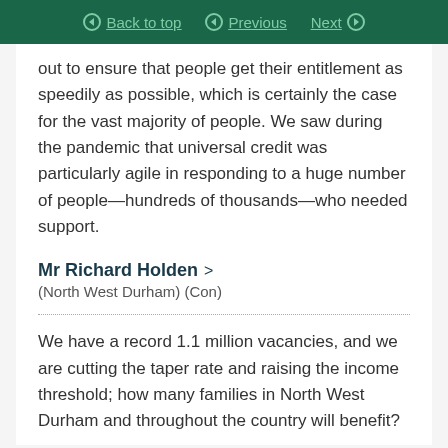Back to top | Previous | Next
out to ensure that people get their entitlement as speedily as possible, which is certainly the case for the vast majority of people. We saw during the pandemic that universal credit was particularly agile in responding to a huge number of people—hundreds of thousands—who needed support.
Mr Richard Holden >
(North West Durham) (Con)
We have a record 1.1 million vacancies, and we are cutting the taper rate and raising the income threshold; how many families in North West Durham and throughout the country will benefit?